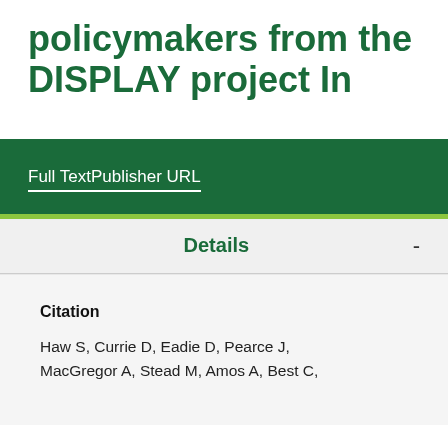policymakers from the DISPLAY project In
Full TextPublisher URL
Details
Citation
Haw S, Currie D, Eadie D, Pearce J, MacGregor A, Stead M, Amos A, Best C,